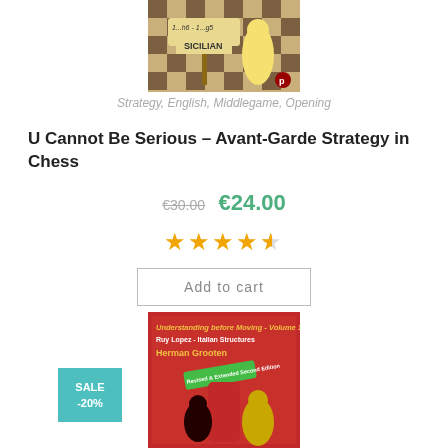[Figure (photo): Chess book cover with Sicilian sign and chess piece]
Strategy, English, Middlegame, Opening
U Cannot Be Serious – Avant-Garde Strategy in Chess
€30.00  €24.00
[Figure (other): 4.5 star rating shown with gold stars]
Add to cart
[Figure (photo): Book cover: Understanding before Moving - Volume 1, Ruy Lopez - Italian Structures, Herman Grooten, Revised & Extended Second Edition]
SALE -20%